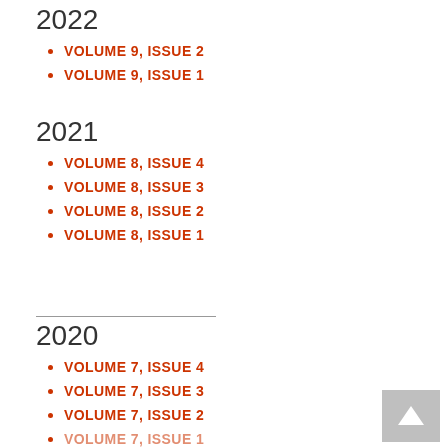2022
VOLUME 9, ISSUE 2
VOLUME 9, ISSUE 1
2021
VOLUME 8, ISSUE 4
VOLUME 8, ISSUE 3
VOLUME 8, ISSUE 2
VOLUME 8, ISSUE 1
2020
VOLUME 7, ISSUE 4
VOLUME 7, ISSUE 3
VOLUME 7, ISSUE 2
VOLUME 7, ISSUE 1